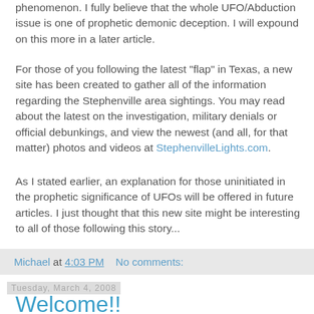phenomenon. I fully believe that the whole UFO/Abduction issue is one of prophetic demonic deception. I will expound on this more in a later article.
For those of you following the latest "flap" in Texas, a new site has been created to gather all of the information regarding the Stephenville area sightings. You may read about the latest on the investigation, military denials or official debunkings, and view the newest (and all, for that matter) photos and videos at StephenvilleLights.com.
As I stated earlier, an explanation for those uninitiated in the prophetic significance of UFOs will be offered in future articles. I just thought that this new site might be interesting to all of those following this story...
Michael at 4:03 PM    No comments:
Tuesday, March 4, 2008
Welcome!!